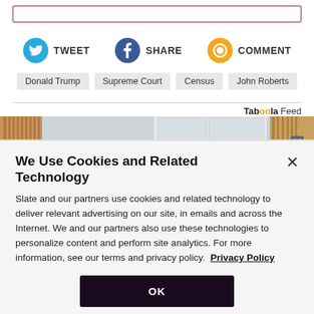[Figure (screenshot): Top border input box with dark red/maroon border]
TWEET
SHARE
COMMENT
Donald Trump
Supreme Court
Census
John Roberts
Taboola Feed
[Figure (photo): Interior room photo showing wooden furniture, white cabinet/armoire, and wood paneling]
We Use Cookies and Related Technology
Slate and our partners use cookies and related technology to deliver relevant advertising on our site, in emails and across the Internet. We and our partners also use these technologies to personalize content and perform site analytics. For more information, see our terms and privacy policy. Privacy Policy
OK